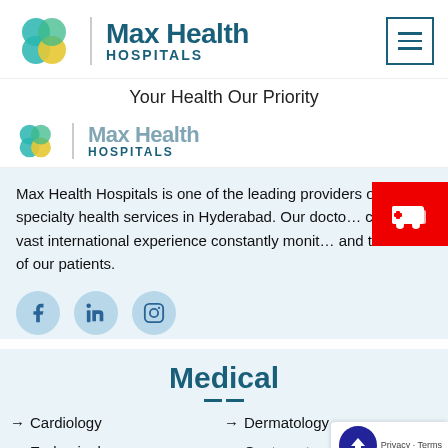[Figure (logo): Max Health Hospitals logo with colorful flower icon and text]
Max Health HOSPITALS
Your Health Our Priority
[Figure (logo): Max Health HOSPITALS second partial logo (scrolled)]
Max Health Hospitals is one of the leading providers of multi-specialty health services in Hyderabad. Our doctors carrying vast international experience constantly monitor and take care of our patients.
[Figure (infographic): Red badge with ambulance icon]
[Figure (infographic): Social media icons: Facebook, LinkedIn, Instagram]
Medical
Cardiology
Dermatology
Endocrinology
Gastroenterology